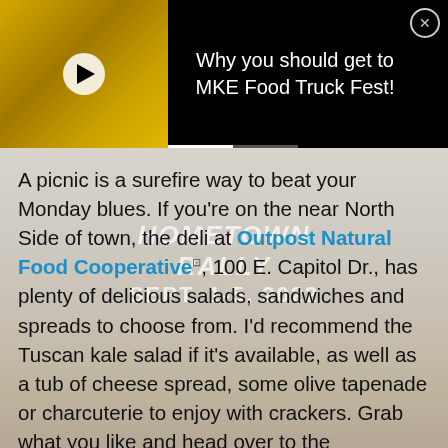[Figure (screenshot): Video thumbnail showing a yellow food truck/vendor scene with a white circular play button overlay]
Why you should get to MKE Food Truck Fest!
A picnic is a surefire way to beat your Monday blues. If you're on the near North Side of town, the deli at Outpost Natural Food Cooperative, 100 E. Capitol Dr., has plenty of delicious salads, sandwiches and spreads to choose from. I'd recommend the Tuscan kale salad if it's available, as well as a tub of cheese spread, some olive tapenade or charcuterie to enjoy with crackers. Grab what you like and head over to the Estabrook Beer Garden about a mile or so